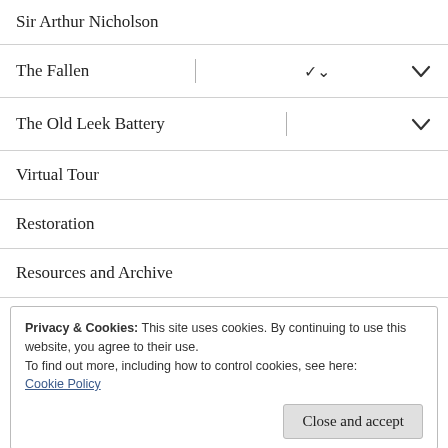Sir Arthur Nicholson
The Fallen
The Old Leek Battery
Virtual Tour
Restoration
Resources and Archive
Privacy & Cookies: This site uses cookies. By continuing to use this website, you agree to their use.
To find out more, including how to control cookies, see here:
Cookie Policy
Close and accept